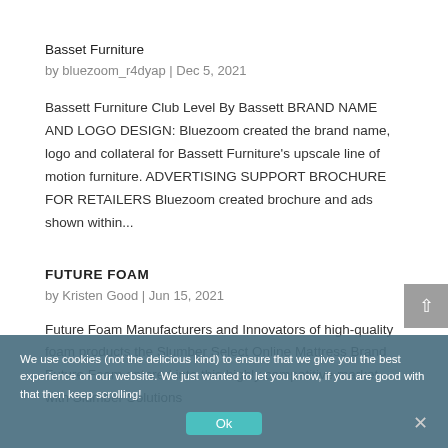Basset Furniture
by bluezoom_r4dyap | Dec 5, 2021
Bassett Furniture Club Level By Bassett BRAND NAME AND LOGO DESIGN: Bluezoom created the brand name, logo and collateral for Bassett Furniture's upscale line of motion furniture. ADVERTISING SUPPORT BROCHURE FOR RETAILERS Bluezoom created brochure and ads shown within...
FUTURE FOAM
by Kristen Good | Jun 15, 2021
Future Foam Manufacturers and Innovators of high-quality foam products the Slumber Select Online Mattress Brand Future Foam entered into this highly competitive market with Slumber Solutions
We use cookies (not the delicious kind) to ensure that we give you the best experience on our website. We just wanted to let you know, if you are good with that then keep scrolling!
Ok